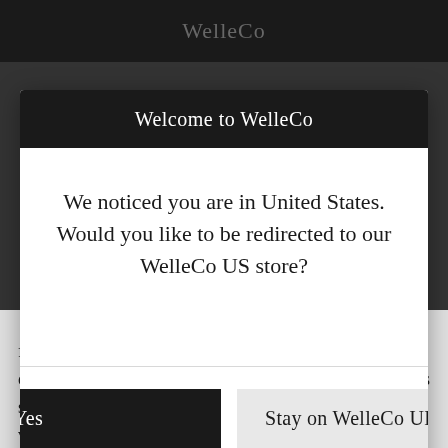WelleCo
Welcome to WelleCo
We noticed you are in United States. Would you like to be redirected to our WelleCo US store?
Yes
Stay on WelleCo UK
each mouthful 20 times, eat more warm foods, boost your veggies to improve your prebiotic culture, and eat foods naturally high in probiotics such as sauerkraut organic kefir, kimchi, cloudy apple cider vinegar and aloe vera.